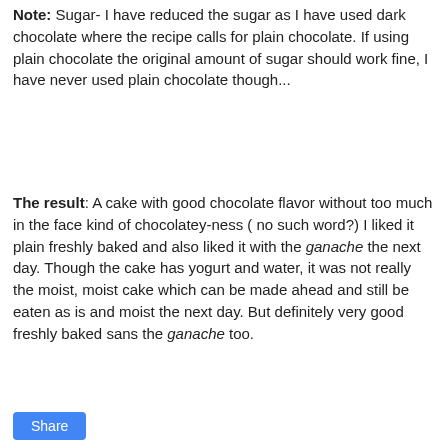Note: Sugar- I have reduced the sugar as I have used dark chocolate where the recipe calls for plain chocolate. If using plain chocolate the original amount of sugar should work fine, I have never used plain chocolate though...
The result: A cake with good chocolate flavor without too much in the face kind of chocolatey-ness ( no such word?) I liked it plain freshly baked and also liked it with the ganache the next day. Though the cake has yogurt and water, it was not really the moist, moist cake which can be made ahead and still be eaten as is and moist the next day. But definitely very good freshly baked sans the ganache too.